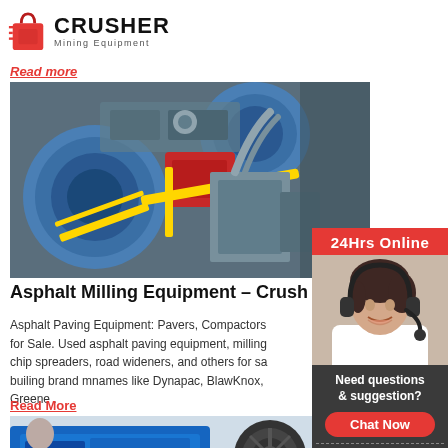[Figure (logo): Crusher Mining Equipment logo with red shopping bag icon and bold text]
Read more
[Figure (photo): Industrial mining/milling machinery with large blue cylindrical drums and yellow highlighted components]
Asphalt Milling Equipment – Crush
Asphalt Paving Equipment: Pavers, Compactors for Sale. Used asphalt paving equipment, milling chip spreaders, road wideners, and others for sa builing brand mnames like Dynapac, BlawKnox, Greene .
Read More
[Figure (photo): Blue jaw crusher machinery in industrial setting]
[Figure (photo): 24Hrs Online sidebar with woman wearing headset, chat now button, enquiry and email contact]
24Hrs Online
Need questions & suggestion?
Chat Now
Enquiry
limingjlmofen@sina.com